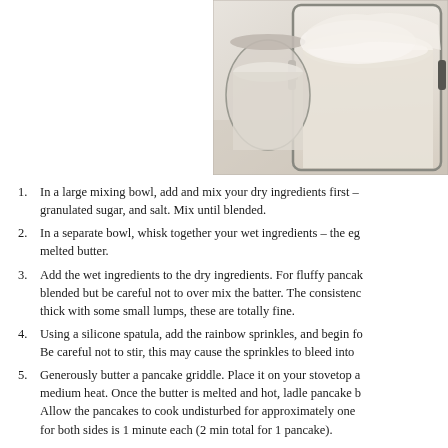[Figure (photo): Glass jars containing flour and other dry baking ingredients, photographed from above at an angle showing the contents]
In a large mixing bowl, add and mix your dry ingredients first – granulated sugar, and salt. Mix until blended.
In a separate bowl, whisk together your wet ingredients – the eg melted butter.
Add the wet ingredients to the dry ingredients. For fluffy pancak blended but be careful not to over mix the batter. The consistenc thick with some small lumps, these are totally fine.
Using a silicone spatula, add the rainbow sprinkles, and begin fo Be careful not to stir, this may cause the sprinkles to bleed into
Generously butter a pancake griddle. Place it on your stovetop a medium heat. Once the butter is melted and hot, ladle pancake b Allow the pancakes to cook undisturbed for approximately one for both sides is 1 minute each (2 min total for 1 pancake).
Make sure to adjust the heat accordingly and to butter the gridd